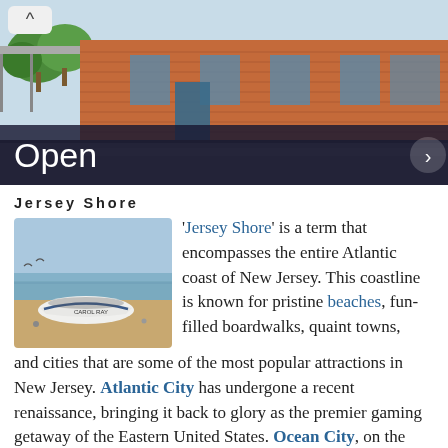[Figure (photo): Hero banner showing a brick building with trees and parking lot, with a semi-transparent dark overlay at the bottom showing 'Open' text and navigation arrow]
Jersey Shore
[Figure (photo): Photo of a white boat on a sandy beach with water and sky in background]
'Jersey Shore' is a term that encompasses the entire Atlantic coast of New Jersey. This coastline is known for pristine beaches, fun-filled boardwalks, quaint towns, and cities that are some of the most popular attractions in New Jersey. Atlantic City has undergone a recent renaissance, bringing it back to glory as the premier gaming getaway of the Eastern United States. Ocean City, on the other hand, makes for a great family vacation for travelers with young children. One reason is that Ocean City has never allowed the sale of alcoholic beverages, and has consistently been rated highly as a great vacation spot for